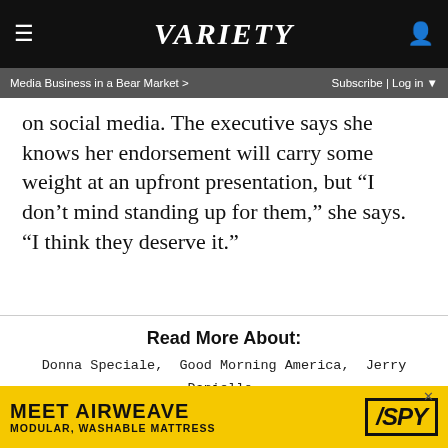VARIETY
Media Business in a Bear Market >  Subscribe | Log in
on social media. The executive says she knows her endorsement will carry some weight at an upfront presentation, but “I don’t mind standing up for them,” she says. “I think they deserve it.”
Read More About:
Donna Speciale,  Good Morning America,  Jerry Daniello,  The Walt Disney Company,  Tv Advertising,  Upfronts,
[Figure (other): Advertisement banner: MEET AIRWEAVE MODULAR, WASHABLE MATTRESS with SPY logo on yellow background]